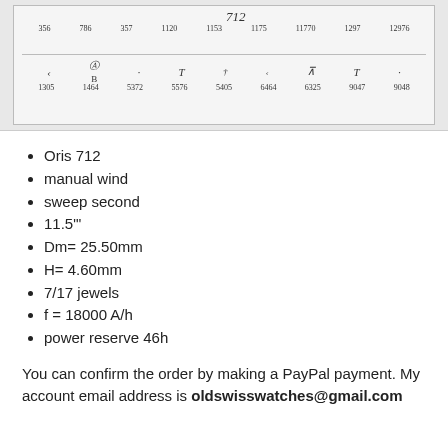[Figure (schematic): Watch movement schematic diagram for Oris 712 showing component numbering rows. Top row numbers: 356, 786, 357, 1120, 1153, 1175, 11770, 1297, 12976. Bottom section shows symbols (curved line, circle-C with B below, dot, T, symbols, Y, T, dot) with numbers: 1305, 1464, 5372, 5576, 5405, 6464, 6325, 9047, 9048. Title '712' appears at top center.]
Oris 712
manual wind
sweep second
11.5"'
Dm= 25.50mm
H= 4.60mm
7/17 jewels
f = 18000 A/h
power reserve 46h
You can confirm the order by making a PayPal payment. My account email address is oldswisswatches@gmail.com